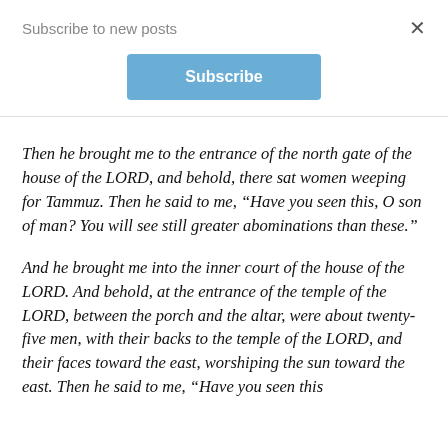Subscribe to new posts
[Figure (other): Subscribe button — blue rounded rectangle with white bold text 'Subscribe']
Then he brought me to the entrance of the north gate of the house of the LORD, and behold, there sat women weeping for Tammuz. Then he said to me, “Have you seen this, O son of man? You will see still greater abominations than these.”
And he brought me into the inner court of the house of the LORD. And behold, at the entrance of the temple of the LORD, between the porch and the altar, were about twenty-five men, with their backs to the temple of the LORD, and their faces toward the east, worshiping the sun toward the east. Then he said to me, “Have you seen this